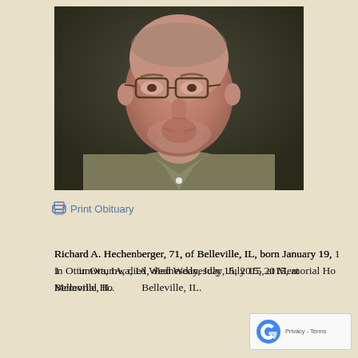[Figure (photo): Portrait photo of an elderly man wearing glasses and an olive/khaki colored collared shirt, photographed against a dark background.]
Print Obituary
Richard A. Hechenberger, 71, of Belleville, IL, born January 19, [1944] in Ottumwa, IA, died Wednesday, July 15, 2015, at Memorial Ho[spital] Belleville, IL.